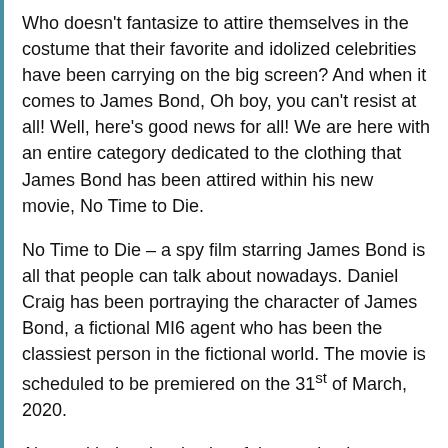Who doesn't fantasize to attire themselves in the costume that their favorite and idolized celebrities have been carrying on the big screen? And when it comes to James Bond, Oh boy, you can't resist at all! Well, here's good news for all! We are here with an entire category dedicated to the clothing that James Bond has been attired within his new movie, No Time to Die.
No Time to Die – a spy film starring James Bond is all that people can talk about nowadays. Daniel Craig has been portraying the character of James Bond, a fictional MI6 agent who has been the classiest person in the fictional world. The movie is scheduled to be premiered on the 31st of March, 2020.
Along with the classic plot of the movie, there are several other factors that must be appreciated as well. Aside from the production, direction, and script – No Time to Die clothing is definitely something that has stolen the attention of the audience. Afterall, attires can make a character look